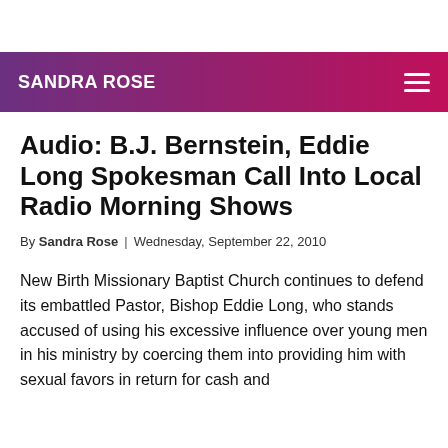SANDRA ROSE
Audio: B.J. Bernstein, Eddie Long Spokesman Call Into Local Radio Morning Shows
By Sandra Rose | Wednesday, September 22, 2010
New Birth Missionary Baptist Church continues to defend its embattled Pastor, Bishop Eddie Long, who stands accused of using his excessive influence over young men in his ministry by coercing them into providing him with sexual favors in return for cash and